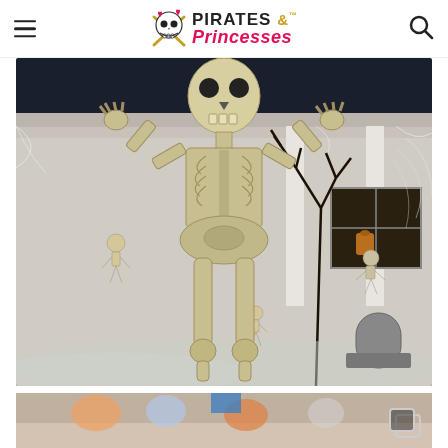Pirates & Princesses
[Figure (photo): A large skeleton Halloween decoration standing in front of a white house at night, with smaller skeleton decorations, bare trees with fake cobwebs, and spooky fog effect on the ground.]
[Figure (photo): Partial view of a second image showing Halloween-themed items, partially cut off at the bottom of the page.]